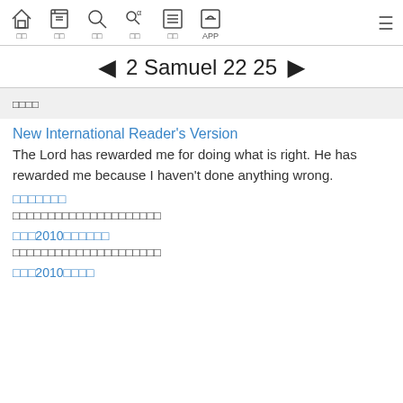Navigation bar with icons: home, book, search, search-replace, list, APP, and menu
◄ 2 Samuel 22 25 ►
□□□□
New International Reader's Version
The Lord has rewarded me for doing what is right. He has rewarded me because I haven't done anything wrong.
□□□□□□□
□□□□□□□□□□□□□□□□□□□□□
□□□2010□□□□□□
□□□□□□□□□□□□□□□□□□□□□
□□□2010□□□□